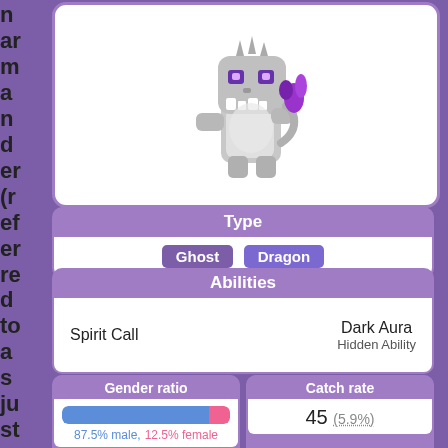n
ar
m
a
n
d
er
(r
ef
er
re
d
to
a
s
ju
st
C
h
ar
[Figure (illustration): Pixel art sprite of a ghost/dragon type Pokemon - a gray dinosaur-like creature with purple eyes and a purple flame on its tail]
Type
Ghost Dragon
Abilities
Spirit Call | Dark Aura (Hidden Ability)
Gender ratio
87.5% male, 12.5% female
Catch rate
45 (5.9%)